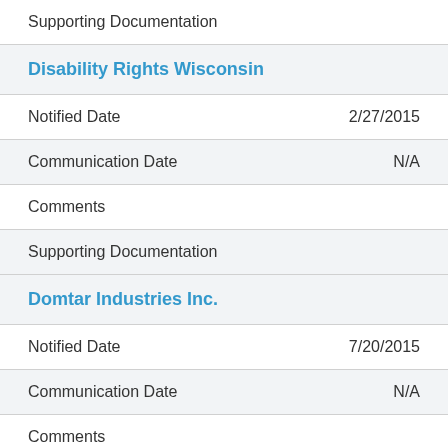Supporting Documentation
Disability Rights Wisconsin
Notified Date  2/27/2015
Communication Date  N/A
Comments
Supporting Documentation
Domtar Industries Inc.
Notified Date  7/20/2015
Communication Date  N/A
Comments